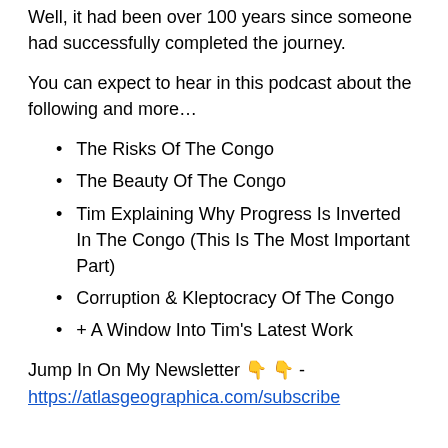Well, it had been over 100 years since someone had successfully completed the journey.
You can expect to hear in this podcast about the following and more…
The Risks Of The Congo
The Beauty Of The Congo
Tim Explaining Why Progress Is Inverted In The Congo (This Is The Most Important Part)
Corruption & Kleptocracy Of The Congo
+ A Window Into Tim's Latest Work
Jump In On My Newsletter 👇 👇 - https://atlasgeographica.com/subscribe